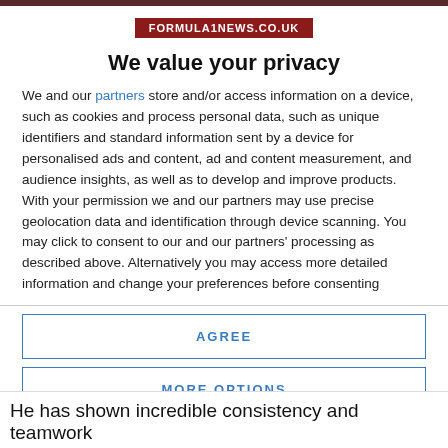[Figure (logo): FORMULA1NEWS.CO.UK logo on dark red background]
We value your privacy
We and our partners store and/or access information on a device, such as cookies and process personal data, such as unique identifiers and standard information sent by a device for personalised ads and content, ad and content measurement, and audience insights, as well as to develop and improve products. With your permission we and our partners may use precise geolocation data and identification through device scanning. You may click to consent to our and our partners' processing as described above. Alternatively you may access more detailed information and change your preferences before consenting
AGREE
MORE OPTIONS
He has shown incredible consistency and teamwork